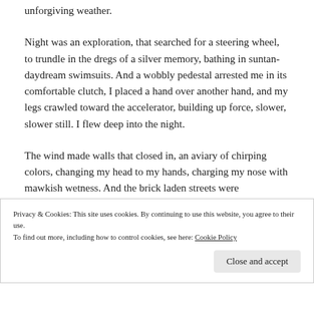unforgiving weather.
Night was an exploration, that searched for a steering wheel, to trundle in the dregs of a silver memory, bathing in suntan-daydream swimsuits. And a wobbly pedestal arrested me in its comfortable clutch, I placed a hand over another hand, and my legs crawled toward the accelerator, building up force, slower, slower still. I flew deep into the night.
The wind made walls that closed in, an aviary of chirping colors, changing my head to my hands, charging my nose with mawkish wetness. And the brick laden streets were
Privacy & Cookies: This site uses cookies. By continuing to use this website, you agree to their use.
To find out more, including how to control cookies, see here: Cookie Policy
Close and accept